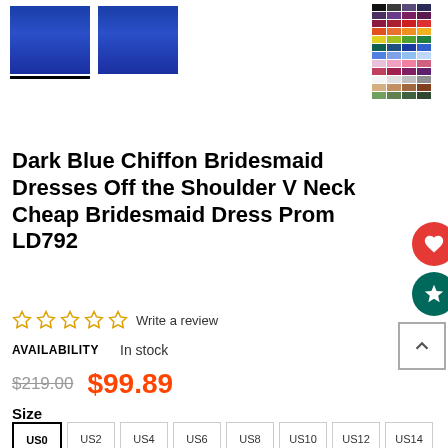[Figure (photo): Two thumbnail photos of a dark blue chiffon bridesmaid dress; first thumbnail has a selection underline. A color swatch chart is visible in the top-right corner.]
Dark Blue Chiffon Bridesmaid Dresses Off the Shoulder V Neck Cheap Bridesmaid Dress Prom LD792
☆☆☆☆☆ Write a review
AVAILABILITY    In stock
$219.00  $99.89
Size
US0  US2  US4  US6  US8  US10  US12  US14